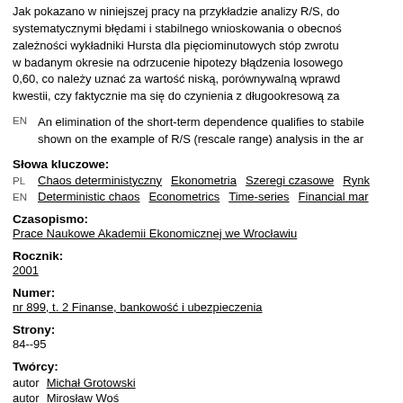Jak pokazano w niniejszej pracy na przykładzie analizy R/S, do systematycznymi błędami i stabilnego wnioskowania o obecnoś zależności wykładniki Hursta dla pięciominutowych stóp zwrotu w badanym okresie na odrzucenie hipotezy błądzenia losowego 0,60, co należy uznać za wartość niską, porównywalną wprawd kwestii, czy faktycznie ma się do czynienia z długookresową za
An elimination of the short-term dependence qualifies to stabile shown on the example of R/S (rescale range) analysis in the ar
Słowa kluczowe:
PL Chaos deterministyczny  Ekonometria  Szeregi czasowe  Rynk
EN Deterministic chaos  Econometrics  Time-series  Financial mar
Czasopismo:
Prace Naukowe Akademii Ekonomicznej we Wrocławiu
Rocznik:
2001
Numer:
nr 899, t. 2 Finanse, bankowość i ubezpieczenia
Strony:
84--95
Twórcy:
autor  Michał Grotowski
autor  Mirosław Woś